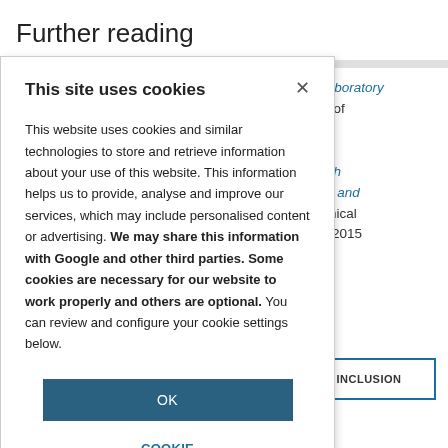Further reading
le science laboratory
ies, Council of
Students with
ls, Colleges, and
erican Chemical
Disabilities, 2015
This site uses cookies
This website uses cookies and similar technologies to store and retrieve information about your use of this website. This information helps us to provide, analyse and improve our services, which may include personalised content or advertising. We may share this information with Google and other third parties. Some cookies are necessary for our website to work properly and others are optional. You can review and configure your cookie settings below.
OK
COOKIE SETTINGS
INCLUSION